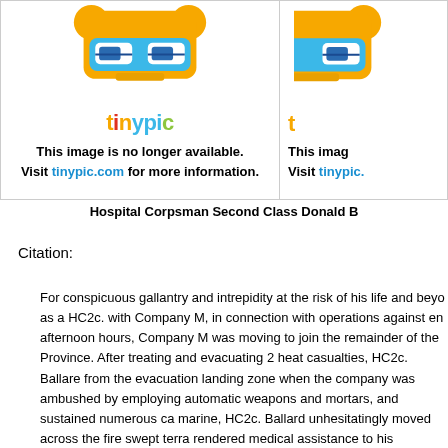[Figure (illustration): Two tinypic.com placeholder images showing a cartoon robot mascot with the tinypic logo, and text 'This image is no longer available. Visit tinypic.com for more information.' The right image is partially cropped.]
Hospital Corpsman Second Class Donald B
Citation:
For conspicuous gallantry and intrepidity at the risk of his life and beyo as a HC2c. with Company M, in connection with operations against en afternoon hours, Company M was moving to join the remainder of the Province. After treating and evacuating 2 heat casualties, HC2c. Ballare from the evacuation landing zone when the company was ambushed by employing automatic weapons and mortars, and sustained numerous ca marine, HC2c. Ballard unhesitatingly moved across the fire swept terra rendered medical assistance to his comrade. HC2c. Ballard then directe